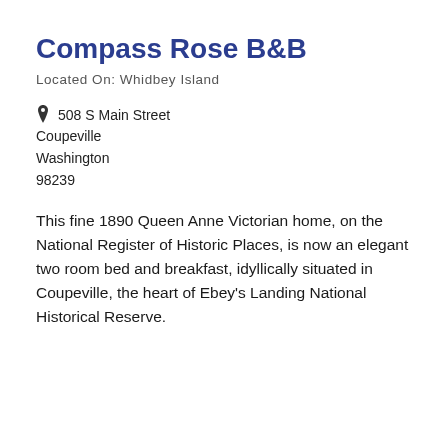Compass Rose B&B
Located On: Whidbey Island
508 S Main Street
Coupeville
Washington
98239
This fine 1890 Queen Anne Victorian home, on the National Register of Historic Places, is now an elegant two room bed and breakfast, idyllically situated in Coupeville, the heart of Ebey's Landing National Historical Reserve.